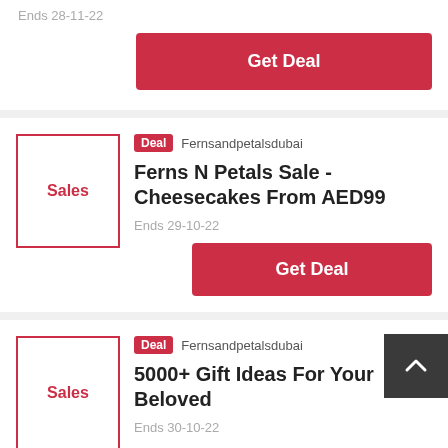Ends 28-11-22
Get Deal
Deal  Fernsandpetalsdubai
Ferns N Petals Sale - Cheesecakes From AED99
Ends 29-10-22
Get Deal
Deal  Fernsandpetalsdubai
5000+ Gift Ideas For Your Beloved
Ends 30-10-22